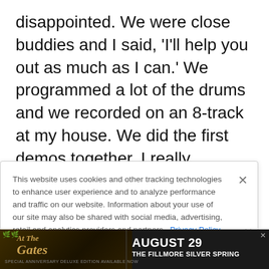disappointed. We were close buddies and I said, 'I'll help you out as much as I can.' We programmed a lot of the drums and we recorded on an 8-track at my house. We did the first demos together. I really enjoyed playing guitar with him. He was a great guitar player. We made a good guitar team. It was interesting for me to branch out of the melodic thing. NIGHTRAGE
This website uses cookies and other tracking technologies to enhance user experience and to analyze performance and traffic on our website. Information about your use of our site may also be shared with social media, advertising, retail and analytics providers and partners. Privacy Policy
[Figure (infographic): Advertisement banner for 'At The Gates' concert on August 29 at The Fillmore Silver Spring, dark background with golden text and decorative leaf imagery.]